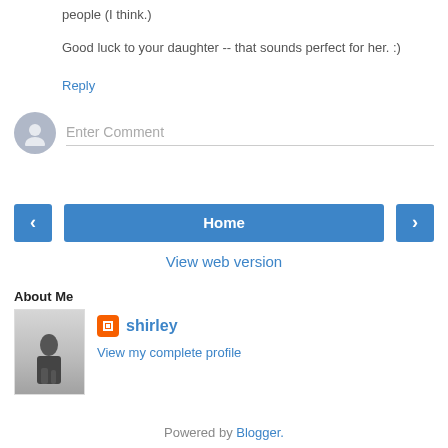people (I think.)
Good luck to your daughter -- that sounds perfect for her. :)
Reply
[Figure (illustration): Comment input field with avatar icon placeholder and 'Enter Comment' placeholder text]
[Figure (infographic): Navigation row with left arrow button, Home button, and right arrow button]
View web version
About Me
[Figure (photo): Black and white photo of a person standing in a field]
shirley
View my complete profile
Powered by Blogger.